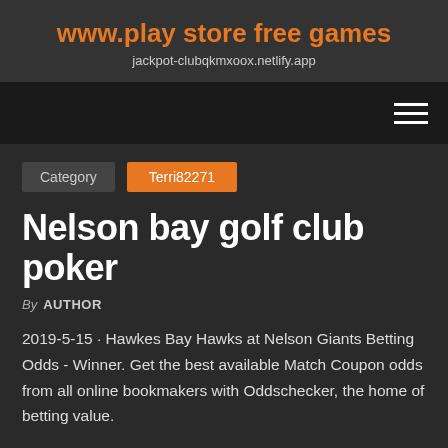www.play store free games
jackpot-clubqkmxoox.netlify.app
Category   Terri82271
Nelson bay golf club poker
By AUTHOR
2019-5-15 · Hawkes Bay Hawks at Nelson Giants Betting Odds - Winner. Get the best available Match Coupon odds from all online bookmakers with Oddschecker, the home of betting value.